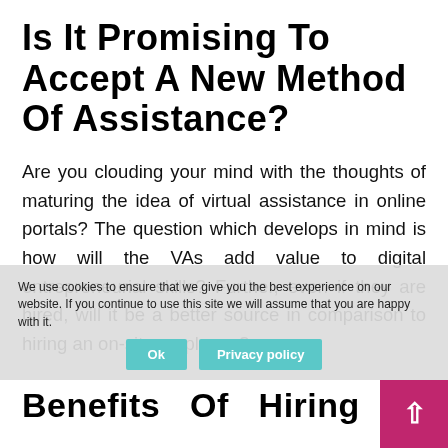Is It Promising To Accept A New Method Of Assistance?
Are you clouding your mind with the thoughts of maturing the idea of virtual assistance in online portals? The question which develops in mind is how will the VAs add value to digital entrepreneurial skills? Further, even if they are hired, will it be a better source in comparison to hiring an on-site employee?
In creating high-level revenues to your business, never fret of recruiting VA. Professionals need to be sure about what they can do to expand your ways.
We use cookies to ensure that we give you the best experience on our website. If you continue to use this site we will assume that you are happy with it.
Benefits Of Hiring Virtual